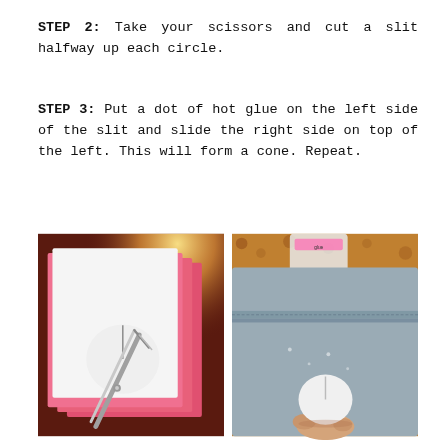STEP 2: Take your scissors and cut a slit halfway up each circle.
STEP 3: Put a dot of hot glue on the left side of the slit and slide the right side on top of the left. This will form a cone. Repeat.
[Figure (photo): Photo showing scissors cutting a slit halfway up a white paper circle, with pink paper sheets in the background on a wooden table.]
[Figure (photo): Photo showing a small white paper circle with a slit being held, with gray fabric and a glue stick visible in the background.]